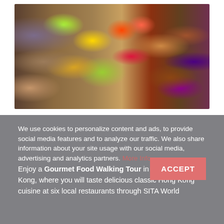[Figure (photo): Colorful street food on skewers including vegetables, fruits, and various foods displayed at a market stall]
We use cookies to personalize content and ads, to provide social media features and to analyze our traffic. We also share information about your site usage with our social media, advertising and analytics partners. More Info
Enjoy a Gourmet Food Walking Tour in Central Hong Kong, where you will taste delicious classic Hong Kong cuisine at six local restaurants through SITA World